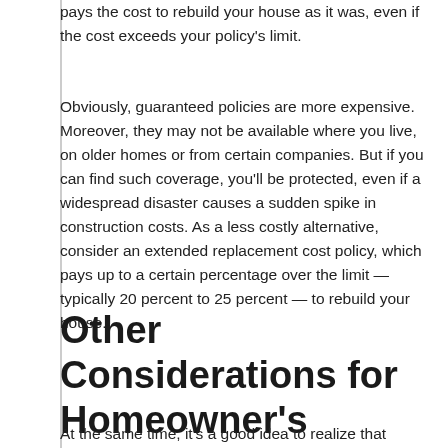pays the cost to rebuild your house as it was, even if the cost exceeds your policy's limit.
Obviously, guaranteed policies are more expensive. Moreover, they may not be available where you live, on older homes or from certain companies. But if you can find such coverage, you'll be protected, even if a widespread disaster causes a sudden spike in construction costs. As a less costly alternative, consider an extended replacement cost policy, which pays up to a certain percentage over the limit — typically 20 percent to 25 percent — to rebuild your house.
Other Considerations for Homeowner's Insurance
At the same time, it's a good idea to realize that